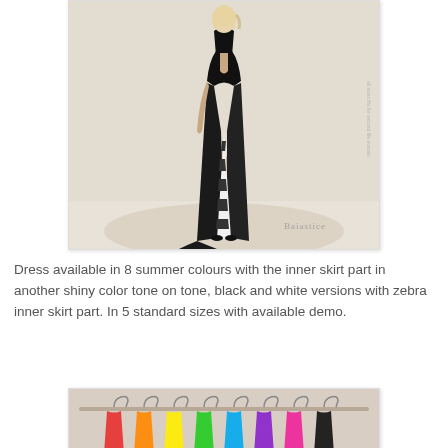[Figure (photo): A virtual 3D avatar/fashion model wearing a long black halter-neck gown with a high slit revealing a zebra-print inner skirt. The model has blonde hair and is posed against a beige/sand background. A brand watermark 'Baiastice' appears in the lower right corner.]
Dress available in 8 summer colours with the inner skirt part in another shiny color tone on tone, black and white versions with zebra inner skirt part. In 5 standard sizes with available demo.
[Figure (photo): A partial view of multiple colorful dress hangers or accessories displayed on a rack, showing various bright colors including red, yellow, green, blue, pink, and orange against a light background.]